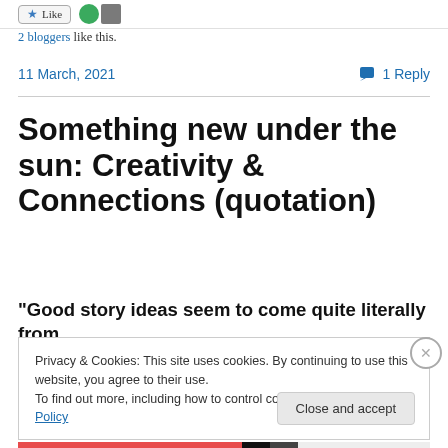2 bloggers like this.
11 March, 2021
1 Reply
Something new under the sun: Creativity & Connections (quotation)
“Good story ideas seem to come quite literally from
Privacy & Cookies: This site uses cookies. By continuing to use this website, you agree to their use.
To find out more, including how to control cookies, see here: Cookie Policy
Close and accept